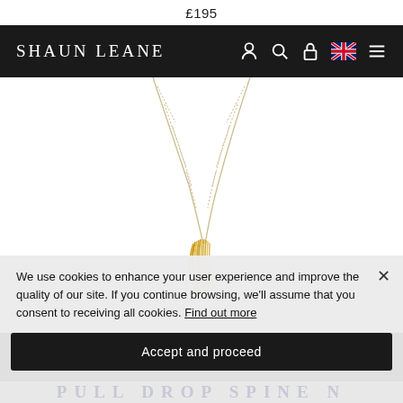£195
SHAUN LEANE
[Figure (photo): A gold multi-wire sculptural pendant necklace on a fine chain, photographed on white background. The pendant appears to be the Shaun Leane 'Signature Spine' or similar architectural wire design in yellow gold.]
We use cookies to enhance your user experience and improve the quality of our site. If you continue browsing, we'll assume that you consent to receiving all cookies. Find out more
Accept and proceed